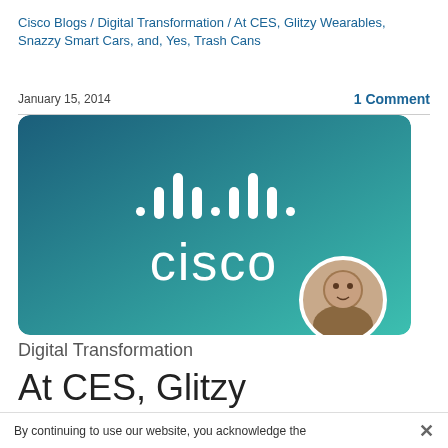Cisco Blogs / Digital Transformation / At CES, Glitzy Wearables, Snazzy Smart Cars, and, Yes, Trash Cans
January 15, 2014
1 Comment
[Figure (logo): Cisco branded hero image with teal-to-dark-teal gradient background, white Cisco logo (signal bars icon and 'cisco' text), and a circular author portrait photo overlaid at bottom-right.]
Digital Transformation
At CES, Glitzy
By continuing to use our website, you acknowledge the